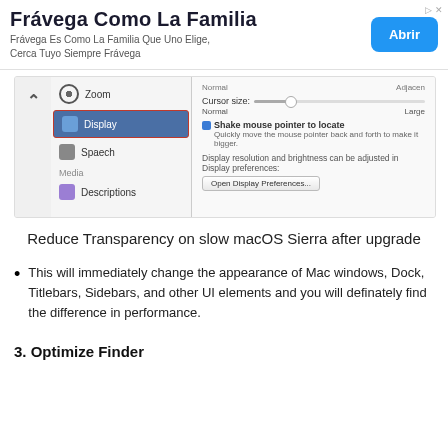[Figure (screenshot): Advertisement banner: Frávega Como La Familia with Abrir button and ad icons]
[Figure (screenshot): macOS Sierra Accessibility Display preferences pane showing Zoom, Display (selected), Speech, Media, Descriptions sidebar items and cursor size slider, shake mouse pointer checkbox, and Open Display Preferences button]
Reduce Transparency on slow macOS Sierra after upgrade
This will immediately change the appearance of Mac windows, Dock, Titlebars, Sidebars, and other UI elements and you will definately find the difference in performance.
3. Optimize Finder